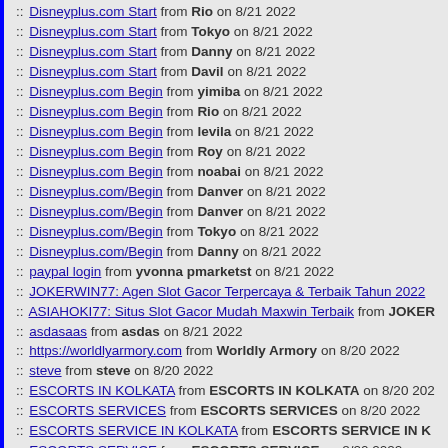:: Disneyplus.com Start from Rio on 8/21 2022
:: Disneyplus.com Start from Tokyo on 8/21 2022
:: Disneyplus.com Start from Danny on 8/21 2022
:: Disneyplus.com Start from Davil on 8/21 2022
:: Disneyplus.com Begin from yimiba on 8/21 2022
:: Disneyplus.com Begin from Rio on 8/21 2022
:: Disneyplus.com Begin from levila on 8/21 2022
:: Disneyplus.com Begin from Roy on 8/21 2022
:: Disneyplus.com Begin from noabai on 8/21 2022
:: Disneyplus.com/Begin from Danver on 8/21 2022
:: Disneyplus.com/Begin from Danver on 8/21 2022
:: Disneyplus.com/Begin from Tokyo on 8/21 2022
:: Disneyplus.com/Begin from Danny on 8/21 2022
:: paypal login from yvonna pmarketst on 8/21 2022
:: JOKERWIN77: Agen Slot Gacor Terpercaya & Terbaik Tahun 2022
:: ASIAHOKI77: Situs Slot Gacor Mudah Maxwin Terbaik from JOKER
:: asdasaas from asdas on 8/21 2022
:: https://worldlyarmory.com from Worldly Armory on 8/20 2022
:: steve from steve on 8/20 2022
:: ESCORTS IN KOLKATA from ESCORTS IN KOLKATA on 8/20 2022
:: ESCORTS SERVICES from ESCORTS SERVICES on 8/20 2022
:: ESCORTS SERVICE IN KOLKATA from ESCORTS SERVICE IN K
:: ESCORTS SERVICE from ESCORTS SERVICE on 8/20 2022
:: KOLKATA ESCORTS from KOLKATA ESCORTS on 8/20 2022
:: KOLKATA ESCORT from KOLKATA ESCORT on 8/20 2022
:: KOLKATA ESCORTS from KOLKATA ESCORTS on 8/20 2022
:: KOLKATA ESCORTS SERVICE from KOLKATA ESCORTS SERVI
:: Trustworthy Online Assignment Help Before the Deadline from Ros
:: godsofseo from godsofseo on 8/20 2022
:: Venmo app review from Jenny Rose on 8/20 2022
:: vidalista 2.5 from vidalista 2.5 on 8/20 2022